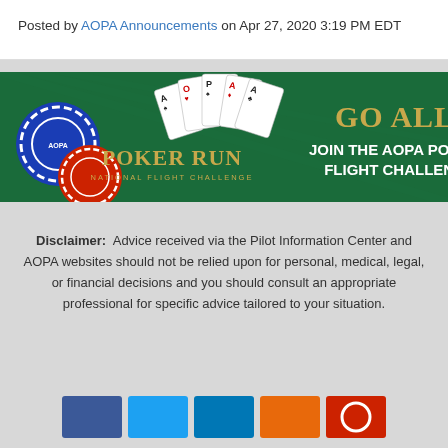Posted by AOPA Announcements on Apr 27, 2020 3:19 PM EDT
[Figure (illustration): AOPA Poker Run National Flight Challenge advertisement banner. Green poker table felt background with playing cards (Ace, 4, Ace, 2, Ace) fanned out, poker chips (blue and red) on the left. Text: POKER RUN NATIONAL FLIGHT CHALLENGE and GO ALL JOIN THE AOPA POKER FLIGHT CHALLENGE on the right side.]
Disclaimer: Advice received via the Pilot Information Center and AOPA websites should not be relied upon for personal, medical, legal, or financial decisions and you should consult an appropriate professional for specific advice tailored to your situation.